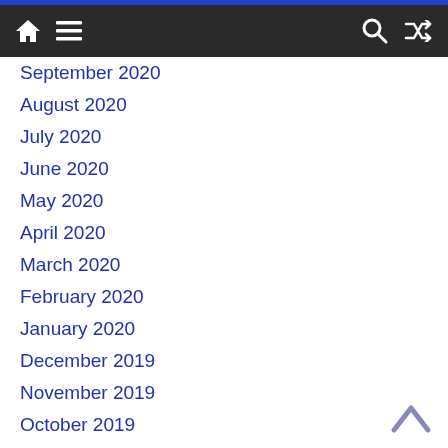Navigation bar with home, menu, search, and shuffle icons
September 2020
August 2020
July 2020
June 2020
May 2020
April 2020
March 2020
February 2020
January 2020
December 2019
November 2019
October 2019
August 2019